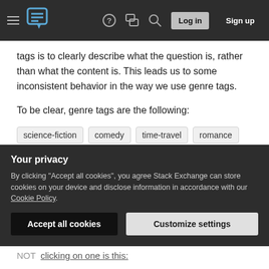Navigation bar with hamburger menu, logo, help, chat, search icons, Log in and Sign up buttons
tags is to clearly describe what the question is, rather than what the content is. This leads us to some inconsistent behavior in the way we use genre tags.
To be clear, genre tags are the following:
science-fiction
comedy
time-travel
romance
drama
animation
fantasy
documentary
etc...
Currently these are used in three ways, not all of them are consistent, they should be one of
Your privacy
By clicking "Accept all cookies", you agree Stack Exchange can store cookies on your device and disclose information in accordance with our Cookie Policy.
Accept all cookies
Customize settings